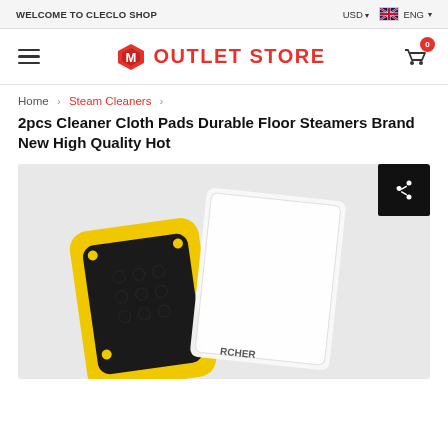WELCOME TO CLECLO SHOP | USD | ENG
[Figure (logo): M Outlet Store logo with red cube icon and red bold text]
Home > Steam Cleaners > 2pcs Cleaner Cloth Pads Durable Floor Steamers Brand New High Quality Hot
2pcs Cleaner Cloth Pads Durable Floor Steamers Brand New High Quality Hot
[Figure (photo): Product photo showing a yellow and black floor steamer pad next to a white Karcher cleaning cloth pad against a light grey background]